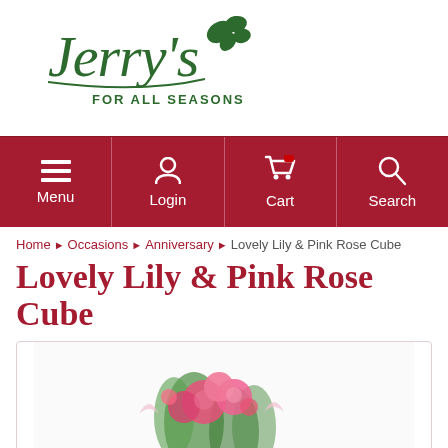[Figure (logo): Jerry's For All Seasons logo in dark green script with ivy leaf decoration]
[Figure (screenshot): Navigation bar with dark red background containing Menu, Login, Cart, and Search icons with labels]
Home ▶ Occasions ▶ Anniversary ▶ Lovely Lily & Pink Rose Cube
Lovely Lily & Pink Rose Cube
[Figure (photo): Partial view of a floral arrangement with pink roses and lilies in a cube vase]